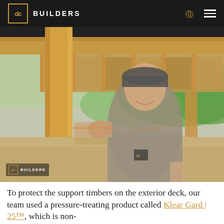DC BUILDERS
[Figure (photo): A man in a DC Builders cap and t-shirt smiling and leaning against a large timber post at a construction site. Visible timber framing, OSB panels, and green hills in the background. DC Builders watermark in bottom left corner.]
To protect the support timbers on the exterior deck, our team used a pressure-treating product called Klear Gard | 25™, which is non-